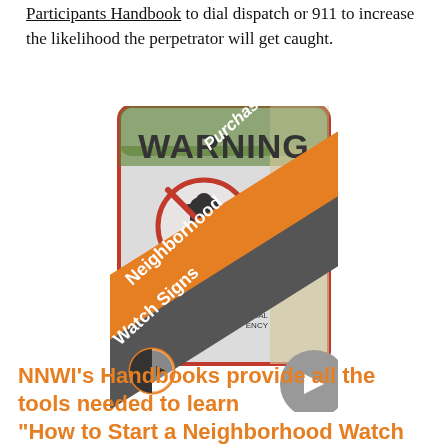Participants Handbook to dial dispatch or 911 to increase the likelihood the perpetrator will get caught.
[Figure (photo): A Neighborhood Watch warning sign with a no-person symbol, overlaid with orange and dark gray diagonal banners reading 'Purchase Neighborhood Watch Signs', with a small orange neighborhood watch icon at bottom left.]
NNWI's Handbooks provide all the tools needed to learn "How to Start a Neighborhood Watch